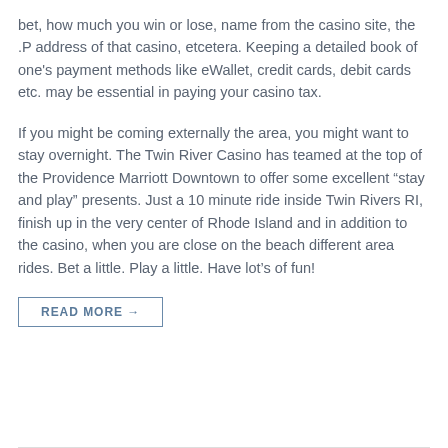bet, how much you win or lose, name from the casino site, the .P address of that casino, etcetera. Keeping a detailed book of one's payment methods like eWallet, credit cards, debit cards etc. may be essential in paying your casino tax.
If you might be coming externally the area, you might want to stay overnight. The Twin River Casino has teamed at the top of the Providence Marriott Downtown to offer some excellent “stay and play” presents. Just a 10 minute ride inside Twin Rivers RI, finish up in the very center of Rhode Island and in addition to the casino, when you are close on the beach different area rides. Bet a little. Play a little. Have lot’s of fun!
READ MORE →